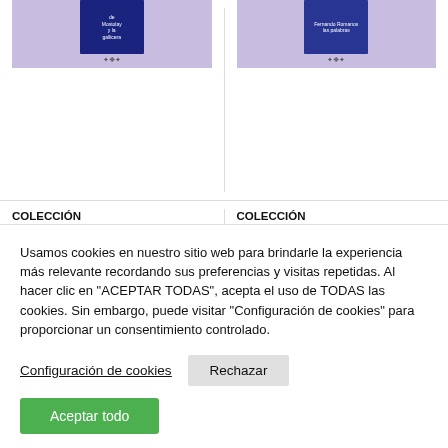[Figure (illustration): Book cover for 'L'aragonés de a baxa Galliguera' in the Colección Documentos de Trabajo series, shown on a purple background]
COLECCIÓN DOCUMENTOS DE TRABAJO
L'aragonés de a baxa Galliguera
10,00€
[Figure (illustration): Book cover for 'Más d'antes en Sarabillo. Bida y parlaje' in the Colección Documentos de Trabajo series, shown on a purple background]
COLECCIÓN DOCUMENTOS DE TRABAJO
Más d'antes en Sarabillo. Bida y parlaje
10,00€
Usamos cookies en nuestro sitio web para brindarle la experiencia más relevante recordando sus preferencias y visitas repetidas. Al hacer clic en "ACEPTAR TODAS", acepta el uso de TODAS las cookies. Sin embargo, puede visitar "Configuración de cookies" para proporcionar un consentimiento controlado.
Configuración de cookies
Rechazar
Aceptar todo